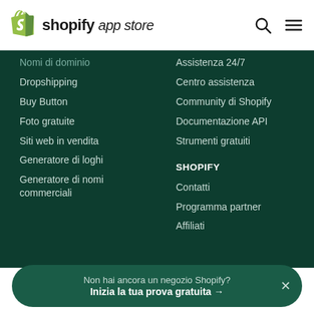shopify app store
Nomi di dominio
Dropshipping
Buy Button
Foto gratuite
Siti web in vendita
Generatore di loghi
Generatore di nomi commerciali
Assistenza 24/7
Centro assistenza
Community di Shopify
Documentazione API
Strumenti gratuiti
SHOPIFY
Contatti
Programma partner
Affiliati
Non hai ancora un negozio Shopify? Inizia la tua prova gratuita →